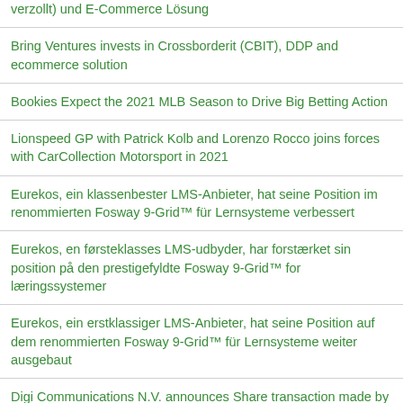verzollt) und E-Commerce Lösung
Bring Ventures invests in Crossborderit (CBIT), DDP and ecommerce solution
Bookies Expect the 2021 MLB Season to Drive Big Betting Action
Lionspeed GP with Patrick Kolb and Lorenzo Rocco joins forces with CarCollection Motorsport in 2021
Eurekos, ein klassenbester LMS-Anbieter, hat seine Position im renommierten Fosway 9-Grid™ für Lernsysteme verbessert
Eurekos, en førsteklasses LMS-udbyder, har forstærket sin position på den prestigefyldte Fosway 9-Grid™ for læringssystemer
Eurekos, ein erstklassiger LMS-Anbieter, hat seine Position auf dem renommierten Fosway 9-Grid™ für Lernsysteme weiter ausgebaut
Digi Communications N.V. announces Share transaction made by an